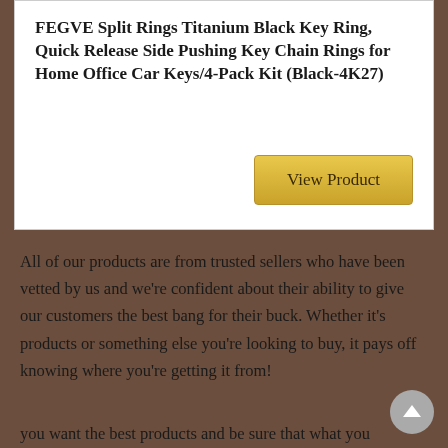FEGVE Split Rings Titanium Black Key Ring, Quick Release Side Pushing Key Chain Rings for Home Office Car Keys/4-Pack Kit (Black-4K27)
View Product
All of our products are from trusted sellers who have been vetted by us and we're confident about their ability to give our customers the best bang for their buck. Whether it's products or something else you're looking to buy, it pays off knowing where you're getting it from!
you want the best products and be sure that what you